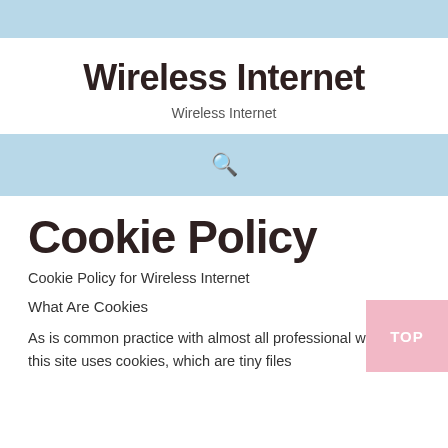Wireless Internet
Wireless Internet
🔍
Cookie Policy
Cookie Policy for Wireless Internet
What Are Cookies
As is common practice with almost all professional websites this site uses cookies, which are tiny files